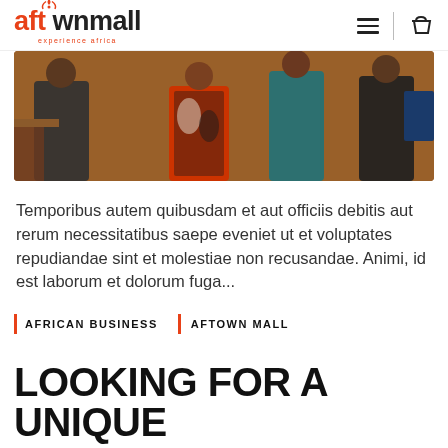aftown mall — experience africa
[Figure (photo): Group of people standing together at an event, wearing formal and African-print attire, indoors.]
Temporibus autem quibusdam et aut officiis debitis aut rerum necessitatibus saepe eveniet ut et voluptates repudiandae sint et molestiae non recusandae. Animi, id est laborum et dolorum fuga...
AFRICAN BUSINESS
AFTOWN MALL
LOOKING FOR A UNIQUE